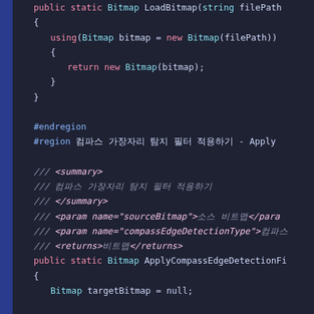[Figure (screenshot): Code editor screenshot showing C# source code with syntax highlighting on a dark background. The code shows a LoadBitmap method, #endregion/#region preprocessor directives with Korean comments, XML documentation comments in Korean, and the beginning of an ApplyCompassEdgeDetectionFilter method with a switch statement.]